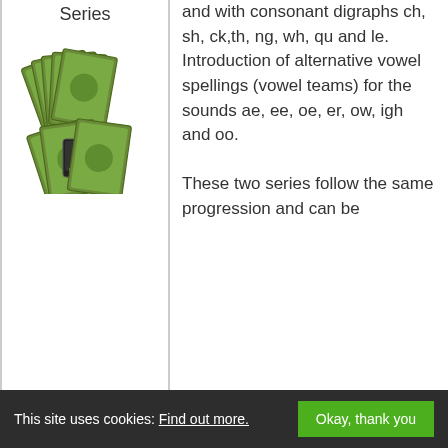Series
[Figure (photo): Stack of reading/phonics book series cards, showing approximately 12 books fanned out]
and with consonant digraphs ch, sh, ck,th, ng, wh, qu and le. Introduction of alternative vowel spellings (vowel teams) for the sounds ae, ee, oe, er, ow, igh and oo.

These two series follow the same progression and can be
This site uses cookies: Find out more.
Okay, thank you